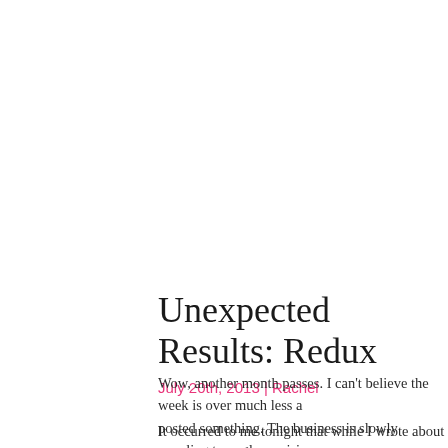Unexpected Results: Redux
July 20th, 2013 | Rachel
Wow, another month passes. I can't believe the week is over much less a month since I posted something. The business is slowly crawling toward our vision, and to see what we have been doing, check out our Facebook page: http://facebook.
It occurred to me tonight that while I wrote about taking the California ba (by just a few miserable points), and taking it again, I haven't written an